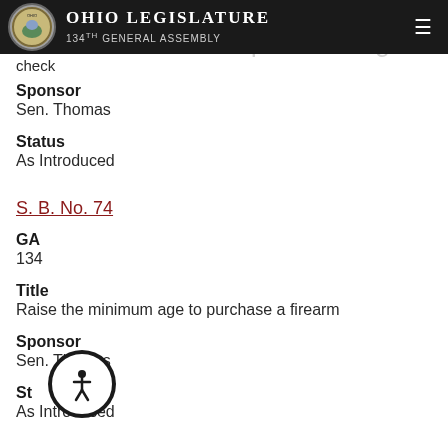Ohio Legislature 134th General Assembly
...is m... ...requires background check
Sponsor
Sen. Thomas
Status
As Introduced
S. B. No. 74
GA
134
Title
Raise the minimum age to purchase a firearm
Sponsor
Sen. Thomas
Status
As Introduced